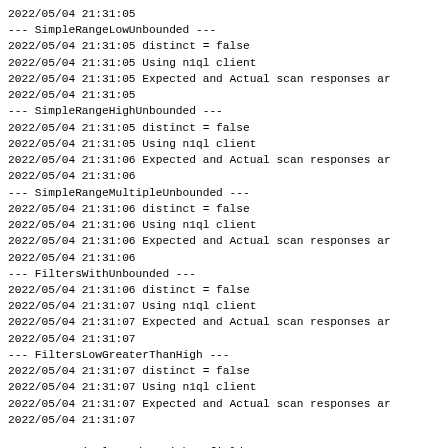2022/05/04 21:31:05
--- SimpleRangeLowUnbounded ---
2022/05/04 21:31:05 distinct = false
2022/05/04 21:31:05 Using n1ql client
2022/05/04 21:31:05 Expected and Actual scan responses ar
2022/05/04 21:31:05
--- SimpleRangeHighUnbounded ---
2022/05/04 21:31:05 distinct = false
2022/05/04 21:31:05 Using n1ql client
2022/05/04 21:31:06 Expected and Actual scan responses ar
2022/05/04 21:31:06
--- SimpleRangeMultipleUnbounded ---
2022/05/04 21:31:06 distinct = false
2022/05/04 21:31:06 Using n1ql client
2022/05/04 21:31:06 Expected and Actual scan responses ar
2022/05/04 21:31:06
--- FiltersWithUnbounded ---
2022/05/04 21:31:06 distinct = false
2022/05/04 21:31:07 Using n1ql client
2022/05/04 21:31:07 Expected and Actual scan responses ar
2022/05/04 21:31:07
--- FiltersLowGreaterThanHigh ---
2022/05/04 21:31:07 distinct = false
2022/05/04 21:31:07 Using n1ql client
2022/05/04 21:31:07 Expected and Actual scan responses ar
2022/05/04 21:31:07
--------- Simple Index with 1 field ---------
2022/05/04 21:31:07
--- SingleIndexSimpleRange ---
2022/05/04 21:31:07 distinct =